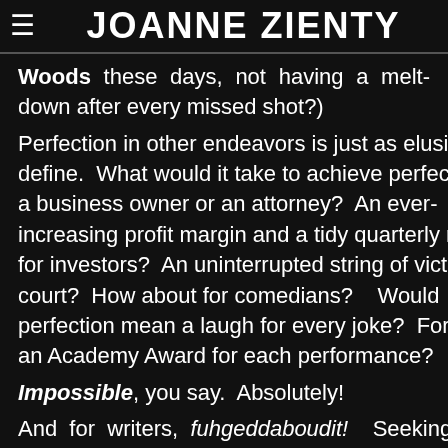JOANNE ZIENTY
Woods these days, not having a melt-down after every missed shot?)
Perfection in other endeavors is just as elusive to define. What would it take to achieve perfection as a business owner or an attorney? An ever-increasing profit margin and a tidy quarterly return for investors? An uninterrupted string of victories in court? How about for comedians? Would perfection mean a laugh for every joke? For actors, an Academy Award for each performance?
Impossible, you say. Absolutely!
And for writers, fuhgeddaboudit! Seeking perfection in every sentence (or any sentence for that matter) guarantees a yawning empty page or